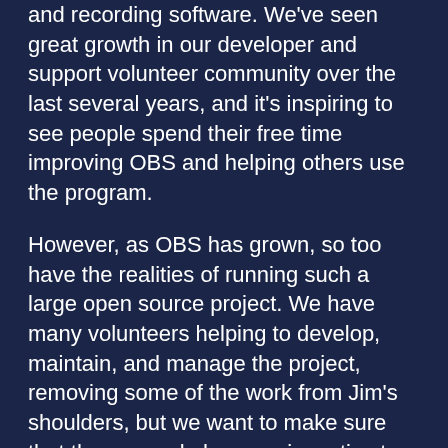and recording software. We've seen great growth in our developer and support volunteer community over the last several years, and it's inspiring to see people spend their free time improving OBS and helping others use the program.
However, as OBS has grown, so too have the realities of running such a large open source project. We have many volunteers helping to develop, maintain, and manage the project, removing some of the work from Jim's shoulders, but we want to make sure that those people have an incentive to continue helping with the project and avoid burnout. On top of that, we want to increase our ability to better handle the demands of the industry and community.
OBS will always be 100% free, and that is not